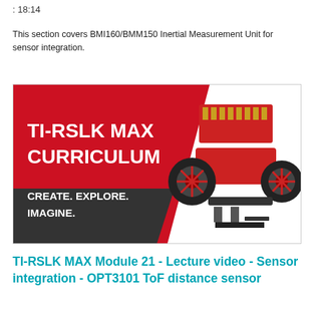: 18:14
This section covers BMI160/BMM150 Inertial Measurement Unit for sensor integration.
[Figure (illustration): TI-RSLK MAX Curriculum banner with text 'TI-RSLK MAX CURRICULUM CREATE. EXPLORE. IMAGINE.' on a red and dark grey diagonal background, with a photo of a robot kit on the right side.]
TI-RSLK MAX Module 21 - Lecture video - Sensor integration - OPT3101 ToF distance sensor